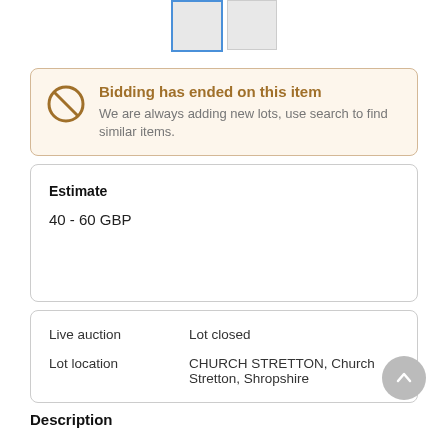[Figure (screenshot): Two small thumbnail images of auction lot item]
Bidding has ended on this item
We are always adding new lots, use search to find similar items.
Estimate
40 - 60 GBP
| Live auction | Lot closed |
| Lot location | CHURCH STRETTON, Church Stretton, Shropshire |
Description